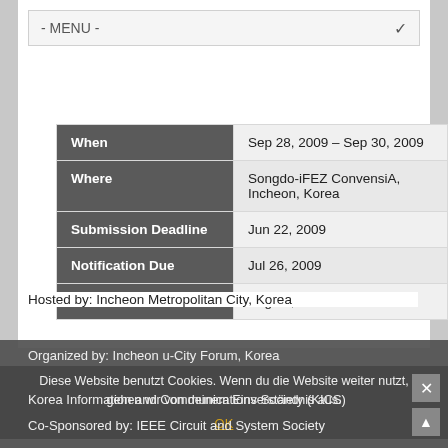| Field | Value |
| --- | --- |
| When | Sep 28, 2009 – Sep 30, 2009 |
| Where | Songdo-iFEZ ConvensiA, Incheon, Korea |
| Submission Deadline | Jun 22, 2009 |
| Notification Due | Jul 26, 2009 |
| Final Version Due | Aug 23, 2009 |
Hosted by: Incheon Metropolitan City, Korea
Organized by: Incheon u-City Forum, Korea
Diese Website benutzt Cookies. Wenn du die Website weiter nutzt, gehen wir von deinem Einverständnis aus.
Korea Information and Communications Society (KICS)
Co-Sponsored by: IEEE Circuit and System Society